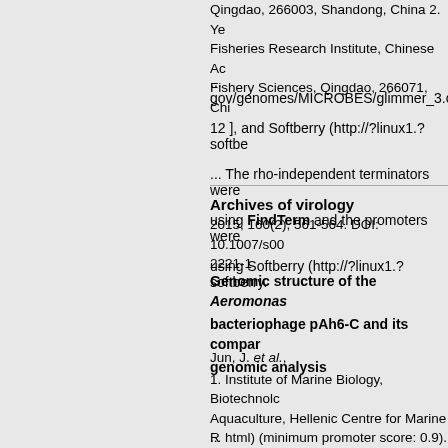Qingdao, 266003, Shandong, China 2. Ye Fisheries Research Institute, Chinese Ac Fishery Sciences, Qingdao, 266071, Chi
... gov/genomes/MICROBES/glimmer_3.c 12 ], and Softberry (http://?linux1.?softbe ... The rho-independent terminators were using FindTerm and the promoters were using Softberry (http://?linux1.?softberry.
Archives of virology
2015, 160(2), 561-564. DOI: 10.1007/s00 2221-1
Genomic structure of the Aeromonas bacteriophage pAh6-C and its compar genomic analysis
Jun, J. et al.,
1. Institute of Marine Biology, Biotechnolc Aquaculture, Hellenic Centre for Marine R Former American Base of Gournes, Hera 71003, Crete, Greece 2. Laboratory of Ac Biomedicine, College of Veterinary Medic Research Institute for Veterinary Science National University, Seoul, 151-742, Rep Korea
... html) (minimum promoter score: 0.9). F